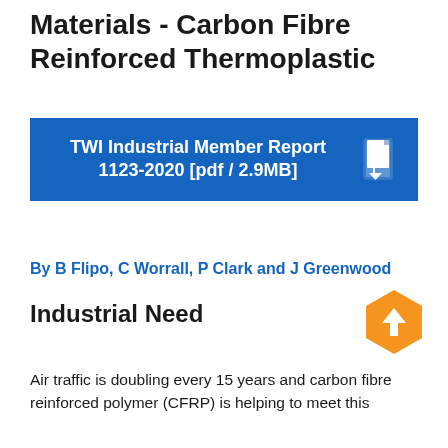Materials - Carbon Fibre Reinforced Thermoplastic
[Figure (other): Blue download banner for TWI Industrial Member Report 1123-2020 [pdf / 2.9MB] with a white document download icon on the right]
By B Flipo, C Worrall, P Clark and J Greenwood
Industrial Need
[Figure (other): Orange hexagon with upward arrow icon (scroll to top button)]
Air traffic is doubling every 15 years and carbon fibre reinforced polymer (CFRP) is helping to meet this